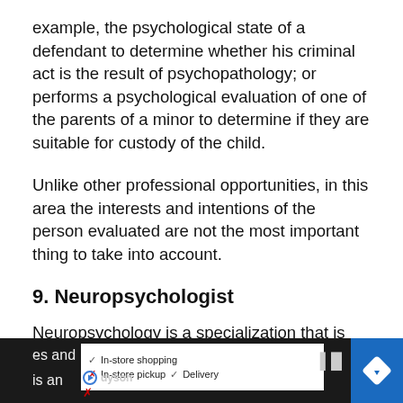example, the psychological state of a defendant to determine whether his criminal act is the result of psychopathology; or performs a psychological evaluation of one of the parents of a minor to determine if they are suitable for custody of the child.
Unlike other professional opportunities, in this area the interests and intentions of the person evaluated are not the most important thing to take into account.
9. Neuropsychologist
Neuropsychology is a specialization that is between neurology and psychology, so it